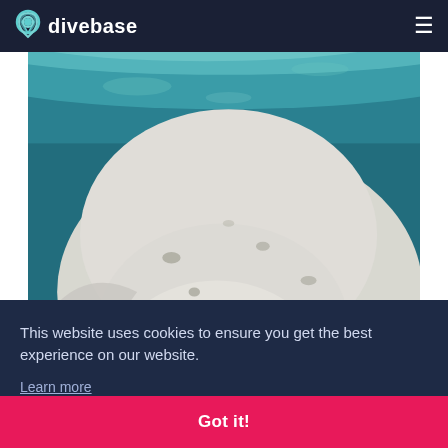divebase
[Figure (photo): Underwater photograph of a leopard seal swimming upward toward the camera, viewed from below. The seal is white/pale with dark spots, with the water surface visible above and teal-blue water surrounding it.]
This website uses cookies to ensure you get the best experience on our website.
Learn more
Got it!